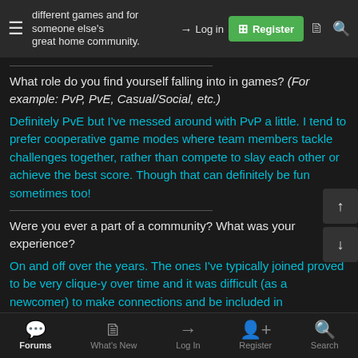different games and for someone else's community great home community. | Log in | Register
What role do you find yourself falling into in games? (For example: PvP, PvE, Casual/Social, etc.)
Definitely PvE but I've messed around with PvP a little. I tend to prefer cooperative game modes where team members tackle challenges together, rather than compete to slay each other or achieve the best score. Though that can definitely be fun sometimes too!
Were you ever a part of a community? What was your experience?
On and off over the years. The ones I've typically joined proved to be very clique-y over time and it was difficult (as a newcomer) to make connections and be included in banter/discussion. The regulars only chat with each other and new voices are quickly
Forums | What's New | Log In | Register | Search